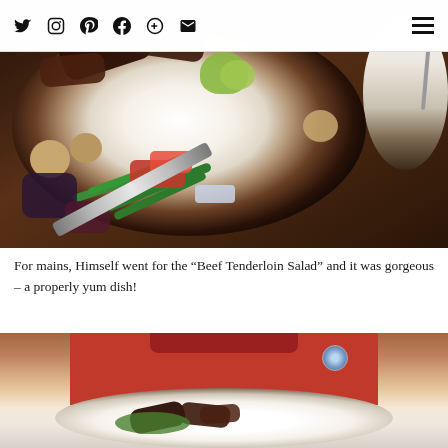Social media icons: Twitter, Instagram, Pinterest, Facebook, Google+, Email | Hamburger menu
[Figure (photo): Top-down view of a white bowl containing Beef Tenderloin Salad with grilled beef pieces, green beans, red peppers, potatoes, avocado, blue cheese crumbles, and purple vegetables, with a knife resting beside the bowl on a dark wooden table. A side plate with a fork is visible on the right.]
For mains, Himself went for the “Beef Tenderloin Salad” and it was gorgeous – a properly yum dish!
[Figure (photo): Person in a red shirt holding a white plate of Beef Tenderloin Salad, with a circular badge/button visible on the shirt.]